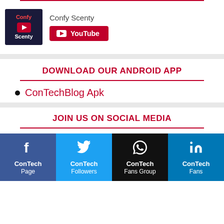[Figure (logo): Confy Scenty YouTube channel logo thumbnail - dark navy background with red/white text]
Confy Scenty
[Figure (logo): YouTube subscribe button - red button with white YouTube play icon and 'YouTube' text]
DOWNLOAD OUR ANDROID APP
ConTechBlog Apk
JOIN US ON SOCIAL MEDIA
[Figure (infographic): Four social media cards: Facebook (ConTech Page), Twitter (ConTech Followers), WhatsApp (ConTech Fans Group), LinkedIn (ConTech Fans)]